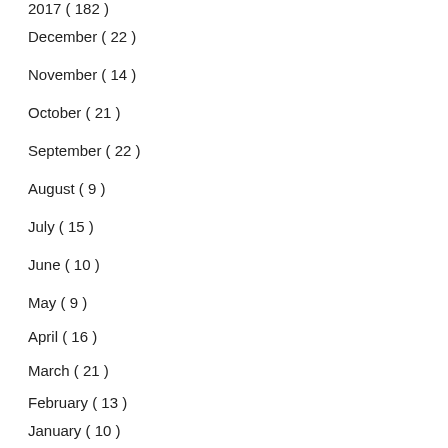2017 ( 182 )
December ( 22 )
November ( 14 )
October ( 21 )
September ( 22 )
August ( 9 )
July ( 15 )
June ( 10 )
May ( 9 )
April ( 16 )
March ( 21 )
February ( 13 )
January ( 10 )
Korres Jasmine Gift Set Review (Body Butter, Showe...
Body Shop Atlas Mountain Rose...